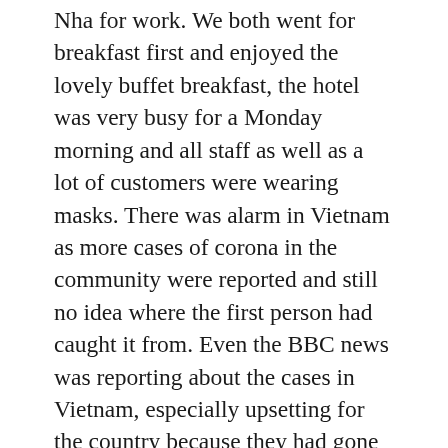Nha for work. We both went for breakfast first and enjoyed the lovely buffet breakfast, the hotel was very busy for a Monday morning and all staff as well as a lot of customers were wearing masks. There was alarm in Vietnam as more cases of corona in the community were reported and still no idea where the first person had caught it from. Even the BBC news was reporting about the cases in Vietnam, especially upsetting for the country because they had gone 99 days without a case. The government took the decision to lockdown the whole of Danang for 14 days in an effort to contain/stop the spread. I ate the rest of the Dingo Deli fudge for lunch and then had a bad stomach so had to skip physio. I chilled out, had a lovely bubble bath, watched Bloodline on Netflix then spoke to Captain Caveman. He had his briefing that evening